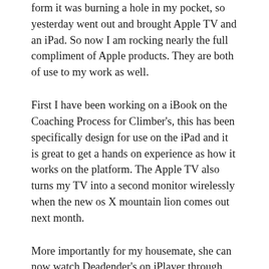form it was burning a hole in my pocket, so yesterday went out and brought Apple TV and an iPad. So now I am rocking nearly the full compliment of Apple products. They are both of use to my work as well.
First I have been working on a iBook on the Coaching Process for Climber's, this has been specifically design for use on the iPad and it is great to get a hands on experience as how it works on the platform. The Apple TV also turns my TV into a second monitor wirelessly when the new os X mountain lion comes out next month.
More importantly for my housemate, she can now watch Deadender's on iPlayer through the Apple TV by mirroring my ipads display. I also watched the first Alien film yesterday, which made me appreciate Prometheus more. Although I have heard calls that